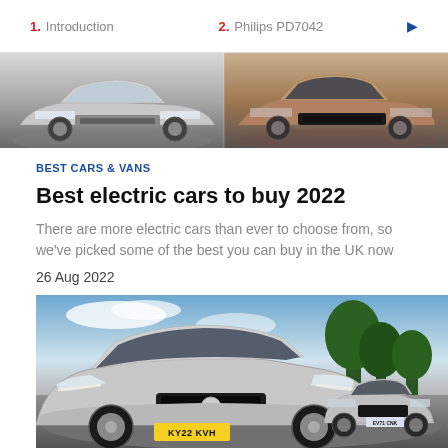1. Introduction    2. Philips PD7042
[Figure (photo): Two electric cars photographed from the front at low angle — a silver car on the left and a bronze/copper colored car on the right, split-panel image]
BEST CARS & VANS
Best electric cars to buy 2022
There are more electric cars than ever to choose from, so we've picked some of the best you can buy in the UK now
26 Aug 2022
[Figure (photo): Two electric cars photographed from the front outdoors — a silver VW with registration KY22 KVH on the left and a silver Mazda on the right, with blue sky and trees in background]